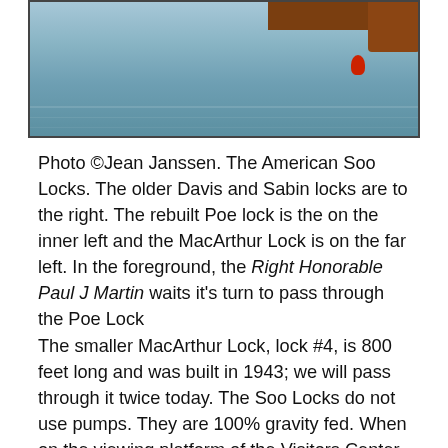[Figure (photo): Photo of the American Soo Locks showing water, a large ship or vessel structure visible on the upper portion, and a red buoy in the foreground water.]
Photo ©Jean Janssen. The American Soo Locks. The older Davis and Sabin locks are to the right. The rebuilt Poe lock is the on the inner left and the MacArthur Lock is on the far left. In the foreground, the Right Honorable Paul J Martin waits it's turn to pass through the Poe Lock
The smaller MacArthur Lock, lock #4, is 800 feet long and was built in 1943; we will pass through it twice today. The Soo Locks do not use pumps. They are 100% gravity fed. When on the viewing platform of the Visitors Center we saw from the restaurant, you look down into the MacArthur lock. The large ships in the Poe Lock are also visible. Locks #1 and #2, the Davis Lock built in 1914 and the Sabin Lock, built in 1918 were the first locks to utilize